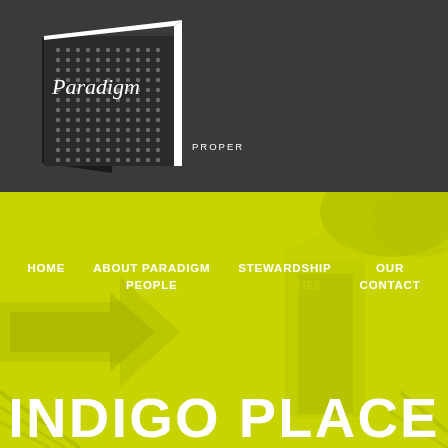[Figure (logo): Paradigm Properties logo: building with dot grid pattern, white silhouette on dark background, text 'Paradigm' in serif font and 'PROPERTIES' in sans-serif]
[Figure (infographic): Green background section with architectural line pattern overlay showing building/arrow shapes in darker green tones]
HOME   ABOUT PARADIGM PEOPLE   STEWARDSHIP OUR CONTACT   PROPERTIES
INDIGO PLACE